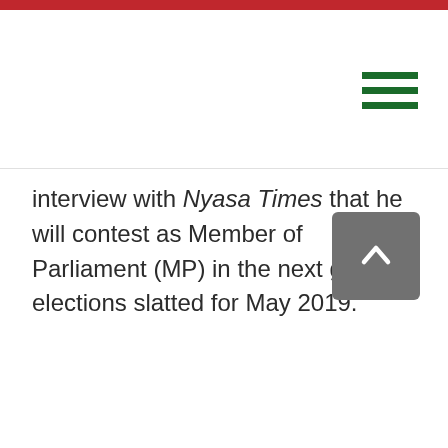interview with Nyasa Times that he will contest as Member of Parliament (MP) in the next general elections slatted for May 2019.